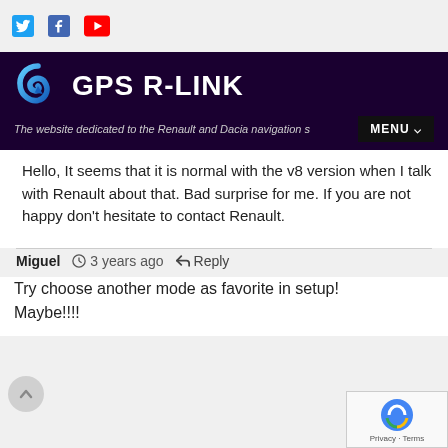[Figure (logo): Social media icons: Twitter (bird), Facebook (f), YouTube (play button) in top bar]
[Figure (logo): GPS R-LINK logo with blue swirl arrow icon and white bold text on dark purple banner]
The website dedicated to the Renault and Dacia navigation s
Hello, It seems that it is normal with the v8 version when I talk with Renault about that. Bad surprise for me. If you are not happy don't hesitate to contact Renault.
Miguel  3 years ago  Reply
Try choose another mode as favorite in setup!
Maybe!!!!